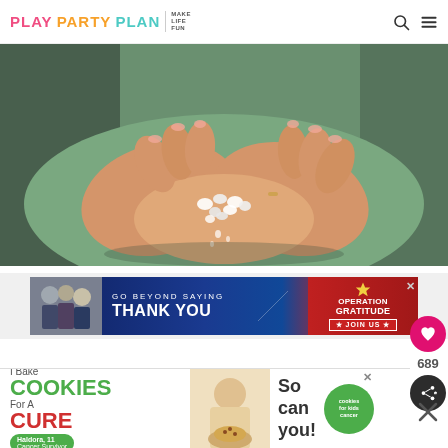PLAY PARTY PLAN — MAKE LIFE FUN
[Figure (photo): Close-up photograph of two hands cupped together holding small white crystals or beads, wearing a green apron or shirt in the background]
[Figure (photo): Advertisement banner: GO BEYOND SAYING THANK YOU — Operation Gratitude, JOIN US]
[Figure (photo): Social sidebar with heart favorite button showing count 689 and share button]
[Figure (photo): Advertisement banner: I Bake COOKIES For A CURE — Haldora, 11 Cancer Survivor — So can you! — cookies for kids cancer]